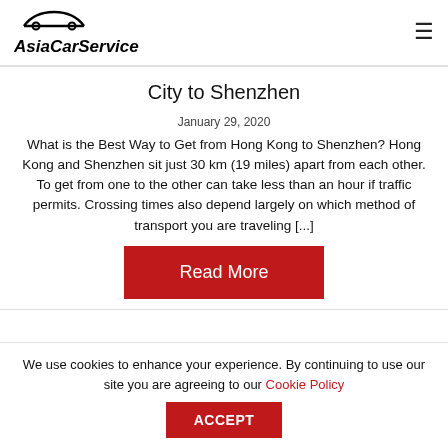AsiaCarService
City to Shenzhen
January 29, 2020
What is the Best Way to Get from Hong Kong to Shenzhen? Hong Kong and Shenzhen sit just 30 km (19 miles) apart from each other. To get from one to the other can take less than an hour if traffic permits. Crossing times also depend largely on which method of transport you are traveling [...]
Read More
We use cookies to enhance your experience. By continuing to use our site you are agreeing to our Cookie Policy ACCEPT